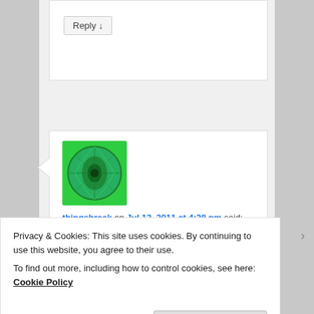[Figure (screenshot): Reply button in a comment box at the top of the page]
[Figure (photo): Green spherical object avatar for user thingsbreak]
thingsbreak on Jul 13, 2011 at 4:28 pm said:
Far and away the best model acronym award
Privacy & Cookies: This site uses cookies. By continuing to use this website, you agree to their use.
To find out more, including how to control cookies, see here: Cookie Policy
Close and accept